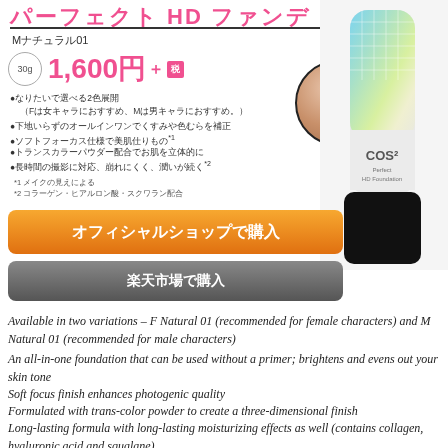パーフェクト HD ファンデ
Mナチュラル01
30g  1,600円＋税
なりたいで選べる2色展開（Fは女キャラにおすすめ、Mは男キャラにおすすめ。）
下地いらずのオールインワンでくすみや色むらを補正
ソフトフォーカス仕様で美肌仕りもの*1
トランスカラーパウダー配合でお肌を立体的に
長時間の撮影に対応、崩れにくく、潤いが続く*2
*1 メイクの見えによる
*2 コラーゲン・ヒアルロン酸・スクワラン配合
[Figure (photo): Swatch circle showing foundation color (beige/nude tone)]
[Figure (photo): Product tube - COS2 Perfect HD Foundation with blue/green/yellow gradient top and black cap]
オフィシャルショップで購入
楽天市場で購入
Available in two variations – F Natural 01 (recommended for female characters) and M Natural 01 (recommended for male characters)
An all-in-one foundation that can be used without a primer; brightens and evens out your skin tone
Soft focus finish enhances photogenic quality
Formulated with trans-color powder to create a three-dimensional finish
Long-lasting formula with long-lasting moisturizing effects as well (contains collagen, hyaluronic acid and squalane)